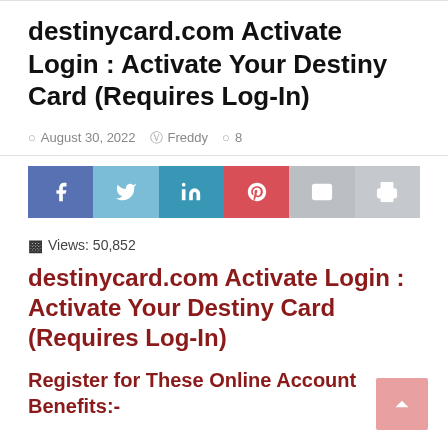destinycard.com Activate Login : Activate Your Destiny Card (Requires Log-In)
August 30, 2022  Freddy  8
[Figure (infographic): Social share buttons: Facebook (blue), Twitter (light blue), LinkedIn (teal), Pinterest (red), Email (gray), Print (gray)]
Views: 50,852
destinycard.com Activate Login : Activate Your Destiny Card (Requires Log-In)
Register for These Online Account Benefits:-